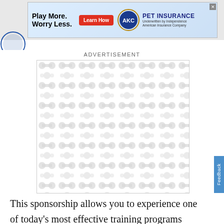[Figure (other): Banner advertisement for AKC Pet Insurance: 'Play More. Worry Less.' with a red Learn How button, AKC circular logo, and text 'PET INSURANCE Underwritten by Independence American Insurance Company'. Close button in top-right corner.]
[Figure (logo): Small circular logo (partially visible) in top-left corner below the banner.]
ADVERTISEMENT
[Figure (other): Grey advertisement placeholder box with repeating organic blob/dumbbell pattern in light grey on white background.]
This sponsorship allows you to experience one of today’s most effective training programs without leaving the